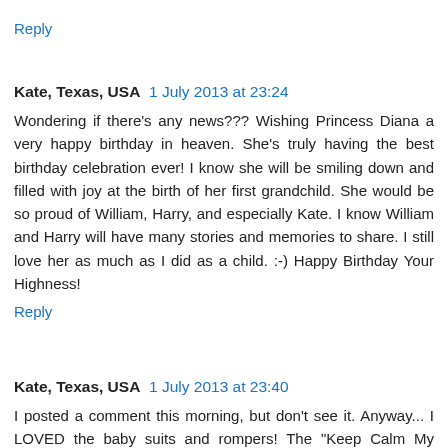Reply
Kate, Texas, USA  1 July 2013 at 23:24
Wondering if there's any news??? Wishing Princess Diana a very happy birthday in heaven. She's truly having the best birthday celebration ever! I know she will be smiling down and filled with joy at the birth of her first grandchild. She would be so proud of William, Harry, and especially Kate. I know William and Harry will have many stories and memories to share. I still love her as much as I did as a child. :-) Happy Birthday Your Highness!
Reply
Kate, Texas, USA  1 July 2013 at 23:40
I posted a comment this morning, but don't see it. Anyway... I LOVED the baby suits and rompers! The "Keep Calm My Granny is the Queen" is a hoot! I would buy that as a keepsake! I will buy something to commemorate the